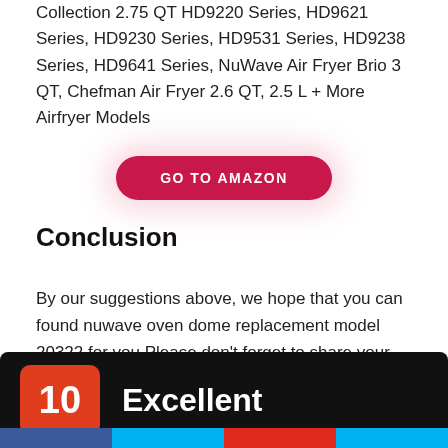Collection 2.75 QT HD9220 Series, HD9621 Series, HD9230 Series, HD9531 Series, HD9238 Series, HD9641 Series, NuWave Air Fryer Brio 3 QT, Chefman Air Fryer 2.6 QT, 2.5 L + More Airfryer Models
[Figure (other): GO TO AMAZON button — red pill-shaped button with glowing effect]
Conclusion
By our suggestions above, we hope that you can found nuwave oven dome replacement model 20322 for you.Please don't forget to share your experience by comment in this post. Thank you!
[Figure (other): Rating card showing score 10 and label Excellent on dark background, partially visible]